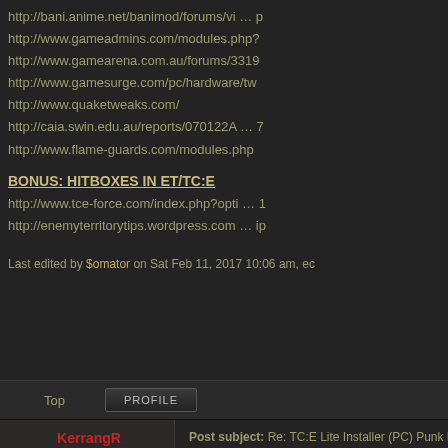http://bani.anime.net/banimod/forums/vi … p
http://www.gameadmins.com/modules.php?
http://www.gamearena.com.au/forums/3319
http://www.gamesurge.com/pc/hardware/tw
http://www.quaketweaks.com/
http://caia.swin.edu.au/reports/070122A … 7
http://www.flame-guards.com/modules.php
BONUS: HITBOXES IN ET/TC:E
http://www.tce-force.com/index.php?opti … 1
http://enemyterritorytips.wordpress.com … ip
Last edited by $omator on Sat Feb 11, 2017 10:06 am, ec
Top
PROFILE
KerrangR
Post subject: Re: TC:E Lite Installer (PC) Punk Buster chec
OFFLINE
Marksman
Joined: Fri Feb 14, 2014 1:40 pm
Posts: 1
can someone reupload this?